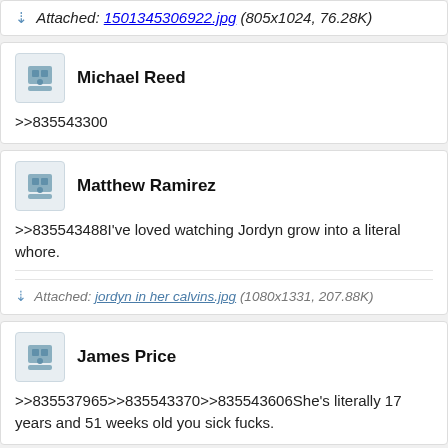Attached: 1501345306922.jpg (805x1024, 76.28K)
Michael Reed
>>835543300
Matthew Ramirez
>>835543488I've loved watching Jordyn grow into a literal whore.
Attached: jordyn in her calvins.jpg (1080x1331, 207.88K)
James Price
>>835537965>>835543370>>835543606She's literally 17 years and 51 weeks old you sick fucks.
Joseph Reyes